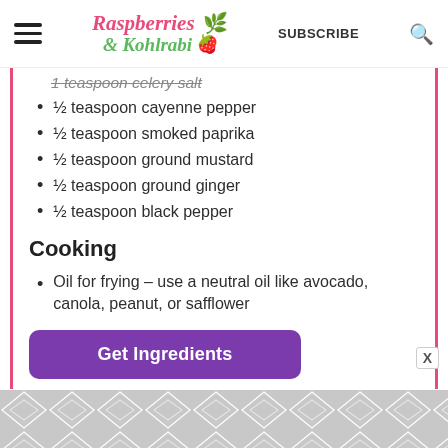Raspberries & Kohlrabi | SUBSCRIBE
1 teaspoon celery salt
½ teaspoon cayenne pepper
½ teaspoon smoked paprika
½ teaspoon ground mustard
½ teaspoon ground ginger
½ teaspoon black pepper
Cooking
Oil for frying – use a neutral oil like avocado, canola, peanut, or safflower
[Figure (other): Get Ingredients button (purple rounded rectangle)]
[Figure (other): Bottom decorative geometric pattern in gray and white hexagon/diamond shapes]